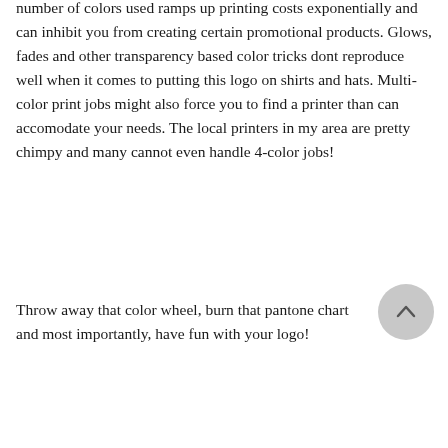number of colors used ramps up printing costs exponentially and can inhibit you from creating certain promotional products. Glows, fades and other transparency based color tricks dont reproduce well when it comes to putting this logo on shirts and hats. Multi-color print jobs might also force you to find a printer than can accomodate your needs. The local printers in my area are pretty chimpy and many cannot even handle 4-color jobs!
Throw away that color wheel, burn that pantone chart and most importantly, have fun with your logo!